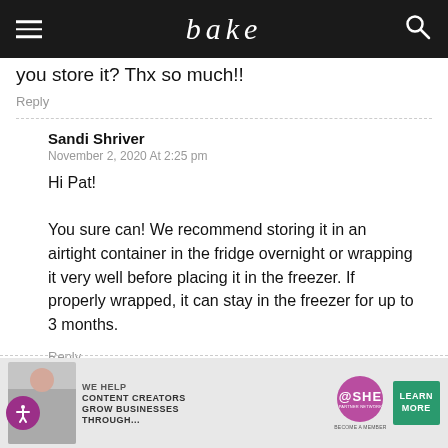bake
you store it? Thx so much!!
Reply
Sandi Shriver
November 2, 2020 At 2:25 pm
Hi Pat!

You sure can! We recommend storing it in an airtight container in the fridge overnight or wrapping it very well before placing it in the freezer. If properly wrapped, it can stay in the freezer for up to 3 months.
Reply
Sweet Treats: Our Favorite Seasonings for Bou...
[Figure (infographic): SHE Partner Network advertisement banner: 'We help content creators grow businesses through...' with LEARN MORE green button]